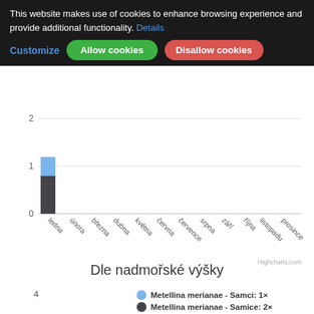This website makes use of cookies to enhance browsing experience and provide additional functionality. Details
Customize | Allow cookies | Disallow cookies
[Figure (stacked-bar-chart): ]
Dle nadmořské výšky
Metellina merianae - Samci: 1×
Metellina merianae - Samice: 2×